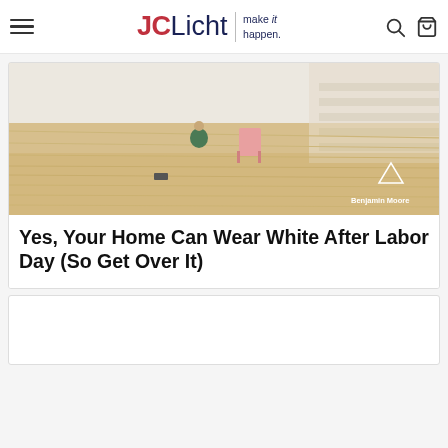JCLicht make it happen.
[Figure (photo): Interior room photo showing light wood floors with a child playing and a staircase; Benjamin Moore branding watermark in bottom right corner]
Yes, Your Home Can Wear White After Labor Day (So Get Over It)
[Figure (photo): Second article card, partially visible, content not shown]